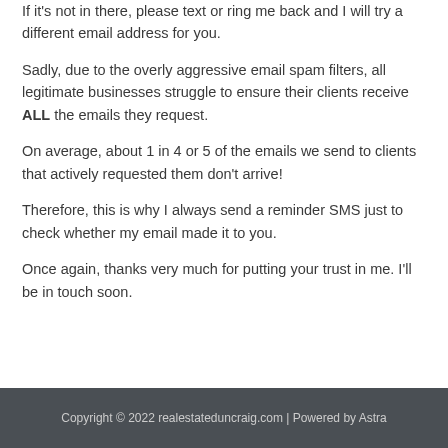If it's not in there, please text or ring me back and I will try a different email address for you.
Sadly, due to the overly aggressive email spam filters, all legitimate businesses struggle to ensure their clients receive ALL the emails they request.
On average, about 1 in 4 or 5 of the emails we send to clients that actively requested them don't arrive!
Therefore, this is why I always send a reminder SMS just to check whether my email made it to you.
Once again, thanks very much for putting your trust in me. I'll be in touch soon.
Copyright © 2022 realestateduncraig.com | Powered by Astra